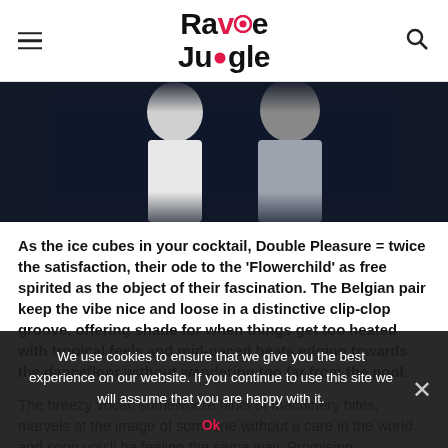Rave Jungle
[Figure (photo): Dark background photo showing two people from behind, one in a white top and one in a grey top]
As the ice cubes in your cocktail, Double Pleasure = twice the satisfaction, their ode to the ‘Flowerchild’ as free spirited as the object of their fascination. The Belgian pair keep the vibe nice and loose in a distinctive clip-clop groove, offering shade for when things get too heated with tropical feels and mid-paced beats edging towards the dancefloor without wandering too far from the pool.
The breezy vocal, somewhere hints of machinery bites, marvels at the image of someone without a care in the world, and soon you'll be feeling the same way. Promising
We use cookies to ensure that we give you the best experience on our website. If you continue to use this site we will assume that you are happy with it.